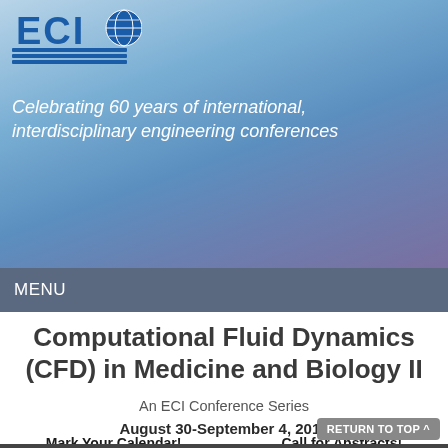[Figure (logo): ECI logo with globe icon and blue horizontal lines]
Celebrating 60 years of international, interdisciplinary engineering conferences
MENU
Computational Fluid Dynamics (CFD) in Medicine and Biology II
An ECI Conference Series
August 30-September 4, 2015
Albufeira, Portugal
Mark Your Calendar!    Call for Abstracts!
RETURN TO TOP ^